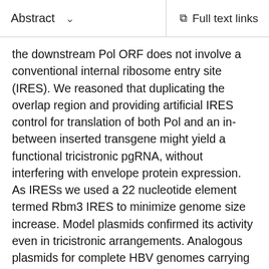Abstract  Full text links
the downstream Pol ORF does not involve a conventional internal ribosome entry site (IRES). We reasoned that duplicating the overlap region and providing artificial IRES control for translation of both Pol and an in-between inserted transgene might yield a functional tricistronic pgRNA, without interfering with envelope protein expression. As IRESs we used a 22 nucleotide element termed Rbm3 IRES to minimize genome size increase. Model plasmids confirmed its activity even in tricistronic arrangements. Analogous plasmids for complete HBV genomes carrying 399 bp and 720 bp transgenes for blasticidin resistance (BsdR) and humanized Renilla green fluorescent protein (hrGFP) produced core and envelope proteins like wild-type HBV; while the hrGFP vector replicated poorly, the BsdR vector generated around 40% as much replicative DNA as wild-type HBV. Both vectors, however, formed enveloped